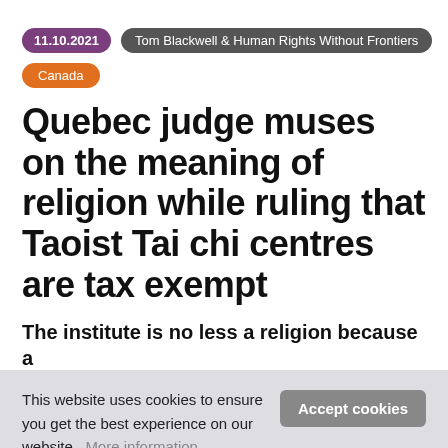11.10.2021 | Tom Blackwell & Human Rights Without Frontiers | Canada
Quebec judge muses on the meaning of religion while ruling that Taoist Tai chi centres are tax exempt
The institute is no less a religion because a
This website uses cookies to ensure you get the best experience on our website.  More information ...  Accept cookies